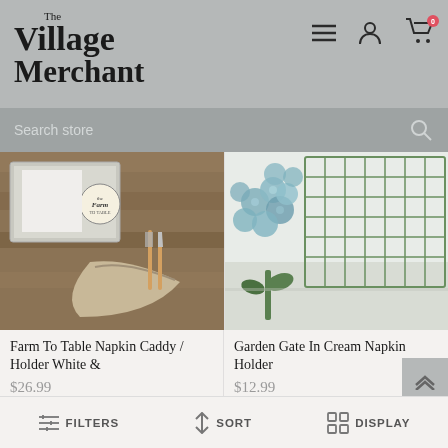The Village Merchant
Search store
[Figure (photo): Farm to table napkin caddy/holder in white, with silverware and cloth napkin on rustic wood surface]
[Figure (photo): Garden Gate in Cream napkin holder with blue hydrangeas, on light surface]
Farm To Table Napkin Caddy / Holder White &
$26.99
Garden Gate In Cream Napkin Holder
$12.99
[Figure (photo): Partial product image - dark wood tones, bottom of page]
[Figure (photo): Partial product image - light/grey tones, bottom of page]
FILTERS   SORT   DISPLAY